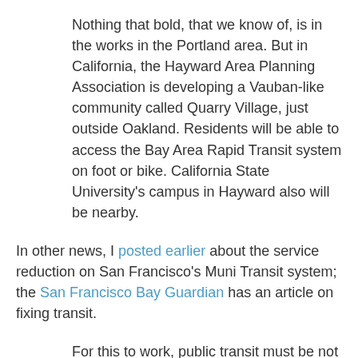Nothing that bold, that we know of, is in the works in the Portland area. But in California, the Hayward Area Planning Association is developing a Vauban-like community called Quarry Village, just outside Oakland. Residents will be able to access the Bay Area Rapid Transit system on foot or bike. California State University's campus in Hayward also will be nearby.
In other news, I posted earlier about the service reduction on San Francisco's Muni Transit system; the San Francisco Bay Guardian has an article on fixing transit.
For this to work, public transit must be not just a little bit better, it must be a great deal better. It must remain affordable for families and serve the whole city efficiently, at all hours of the day. Residents should need cars so rarely that transit costs, plus occasional car-sharing and car rentals, are cheaper alternatives than car ownership.